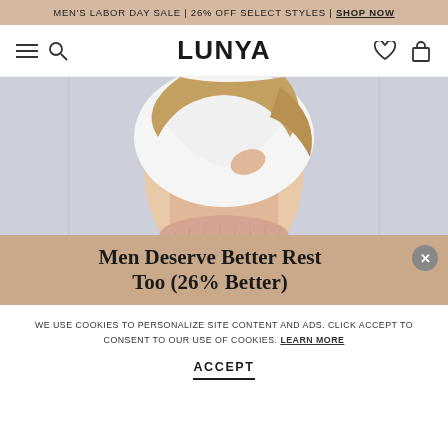MEN'S LABOR DAY SALE | 26% OFF SELECT STYLES | SHOP NOW
[Figure (logo): Lunya brand logo and navigation bar with hamburger menu, search icon, heart icon, and bag icon]
[Figure (photo): Woman wearing white draped top and blush pink pleated skirt, photographed from torso down showing midriff]
Men Deserve Better Rest Too (26% Better)
WE USE COOKIES TO PERSONALIZE SITE CONTENT AND ADS. CLICK ACCEPT TO CONSENT TO OUR USE OF COOKIES. LEARN MORE
ACCEPT